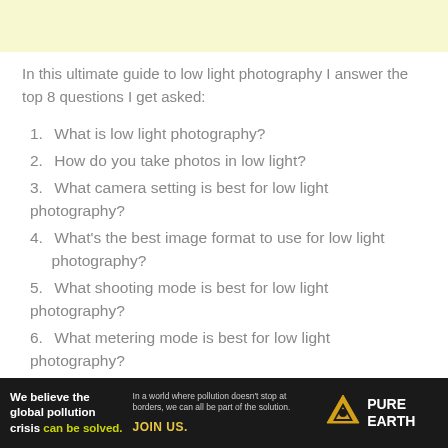In this ultimate guide to low light photography I answer the top 8 questions I get asked:
1. What is low light photography?
2. How do you take photos in low light?
3. What camera setting is best for low light photography?
4. What's the best image format to use for low light photography?
5. What shooting mode is best for low light photography?
6. What metering mode is best for low light photography?
7. How do I take sharp photos in low light?
[Figure (other): Advertisement banner for Pure Earth: 'We believe the global pollution crisis can be solved.' with Pure Earth logo]